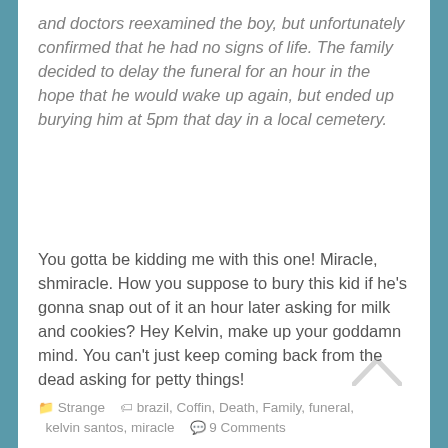and doctors reexamined the boy, but unfortunately confirmed that he had no signs of life. The family decided to delay the funeral for an hour in the hope that he would wake up again, but ended up burying him at 5pm that day in a local cemetery.
You gotta be kidding me with this one! Miracle, shmiracle. How you suppose to bury this kid if he's gonna snap out of it an hour later asking for milk and cookies? Hey Kelvin, make up your goddamn mind. You can't just keep coming back from the dead asking for petty things!
Strange   brazil, Coffin, Death, Family, funeral, kelvin santos, miracle   9 Comments